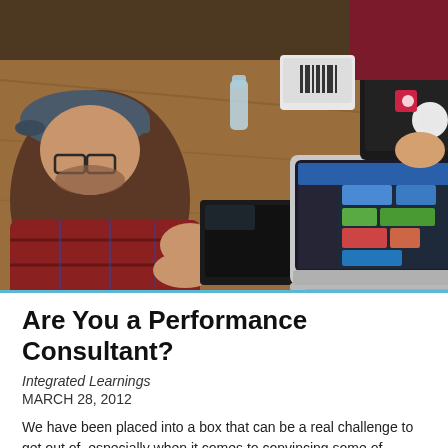[Figure (photo): People sitting around a wooden table working on laptops in a collaborative work session. A man in a cap and plaid shirt gestures with his hands while others work on laptops, one showing a colorful application interface.]
Are You a Performance Consultant?
Integrated Learnings
MARCH 28, 2012
We have been placed into a box that can be a real challenge to get out of, especially when it comes to convincing some of